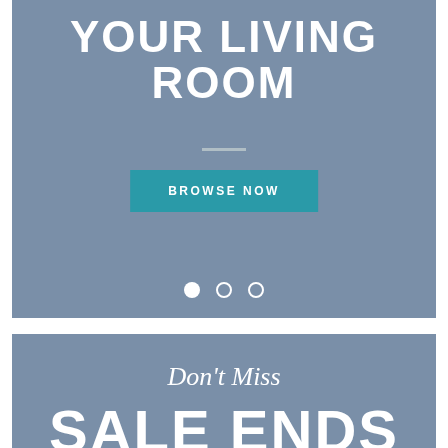[Figure (screenshot): Top banner with blue-grey background showing 'YOUR LIVING ROOM' heading, a divider line, a teal 'BROWSE NOW' button, and three pagination dots at the bottom.]
YOUR LIVING ROOM
BROWSE NOW
[Figure (screenshot): Bottom banner with blue-grey background showing script text 'Don't Miss' and bold uppercase text 'SALE ENDS' partially visible.]
Don't Miss
SALE ENDS